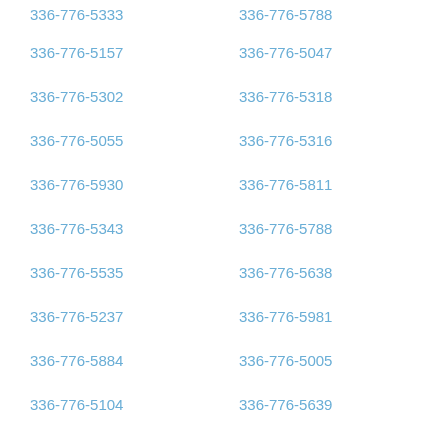336-776-5333
336-776-5788
336-776-5157
336-776-5047
336-776-5302
336-776-5318
336-776-5055
336-776-5316
336-776-5930
336-776-5811
336-776-5343
336-776-5788
336-776-5535
336-776-5638
336-776-5237
336-776-5981
336-776-5884
336-776-5005
336-776-5104
336-776-5639